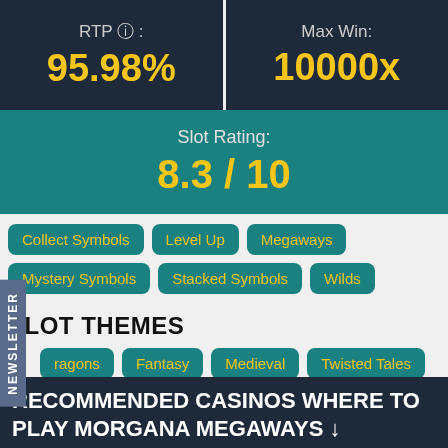RTP ?: 95.98%
Max Win: 10000x
Slot Rating: 8.3 / 10
Collect Symbols
Level Up
Megaways
Mystery Symbols
Stacked Symbols
Wilds
SLOT THEMES
Dragons
Fantasy
Medieval
Twisted Tales
Witches
NEWSLETTER
RECOMMENDED CASINOS WHERE TO PLAY MORGANA MEGAWAYS ↓